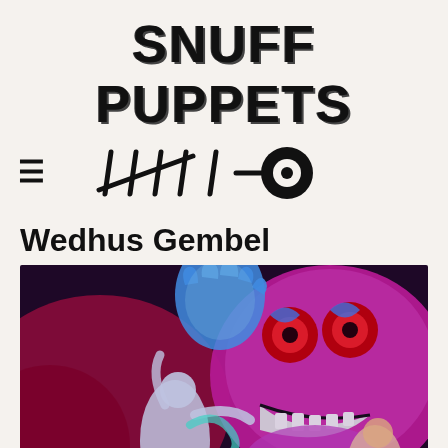SNUFF PUPPETS
[Figure (logo): Navigation bar with hamburger menu icon on the left and a hand-drawn fish/tally mark logo on the right against a beige background]
Wedhus Gembel
[Figure (photo): Performance photo showing performers under UV/neon lighting with a large colorful puppet face featuring red and purple swirling patterns and a grinning mouth, and performers in white costumes gesturing dramatically]